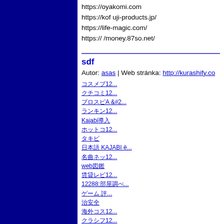https://oyakomi.com
https://kofuji-products.jp/
https://life-magic.com/
https://money.87so.net/
sdf
Autor: asas | Web stránka: http://kurashify.co...
&#12467;&#12473;&#12513;&#12502;&#12...
&#12463;&#12481;&#12467;&#12511;&#12...
&#12503;&#12525;&#12473;&#12500;A &#...
&#12521;&#12531;&#12461;&#12531;&#12...
Kajabi&#23566;&#20837;
&#12507;&#12483;&#12488;&#12467;&#12...
&#12479;&#12461;&#12499;
&#26085;&#26412;&#35486; KAJABI &#235...
&#21517;&#26354;&#12493;&#12483;&#12...
web&#22259;&#37969;
&#36035;&#36024;&#12524;&#12499;&#12...
12288;&#37096;&#23627;&#35519;&#12409...
&#12466;&#12540;&#12512; &#35413;&#20...
&#27835;&#23433;&#20840;
&#28023;&#22806;&#12467;&#12473;&#12...
&#12463;&#12521;&#12471;&#12501;&#12...
&#12521;&#12531;&#12461;&#12531;&#12...